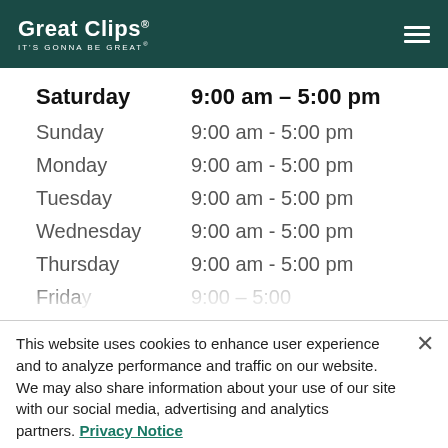Great Clips IT'S GONNA BE GREAT
| Day | Hours |
| --- | --- |
| Saturday | 9:00 am - 5:00 pm |
| Sunday | 9:00 am - 5:00 pm |
| Monday | 9:00 am - 5:00 pm |
| Tuesday | 9:00 am - 5:00 pm |
| Wednesday | 9:00 am - 5:00 pm |
| Thursday | 9:00 am - 5:00 pm |
| Friday | 9:00 - 5:00 (partial) |
This website uses cookies to enhance user experience and to analyze performance and traffic on our website. We may also share information about your use of our site with our social media, advertising and analytics partners. Privacy Notice
Do Not Sell My Personal Information